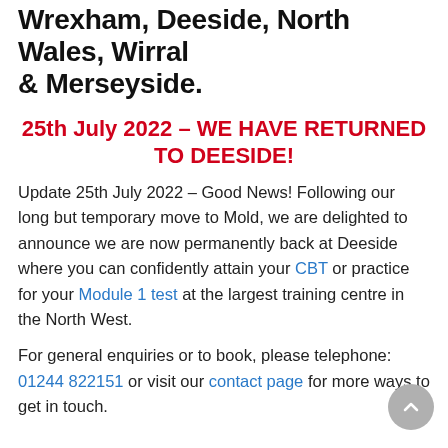Wrexham, Deeside, North Wales, Wirral & Merseyside.
25th July 2022 – WE HAVE RETURNED TO DEESIDE!
Update 25th July 2022 – Good News! Following our long but temporary move to Mold, we are delighted to announce we are now permanently back at Deeside where you can confidently attain your CBT or practice for your Module 1 test at the largest training centre in the North West.
For general enquiries or to book, please telephone: 01244 822151 or visit our contact page for more ways to get in touch.